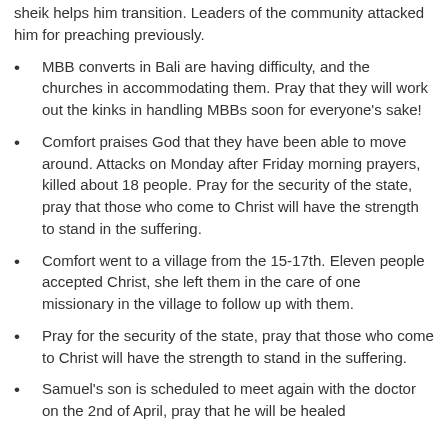sheik helps him transition. Leaders of the community attacked him for preaching previously.
MBB converts in Bali are having difficulty, and the churches in accommodating them. Pray that they will work out the kinks in handling MBBs soon for everyone’s sake!
Comfort praises God that they have been able to move around. Attacks on Monday after Friday morning prayers, killed about 18 people. Pray for the security of the state, pray that those who come to Christ will have the strength to stand in the suffering.
Comfort went to a village from the 15-17th. Eleven people accepted Christ, she left them in the care of one missionary in the village to follow up with them.
Pray for the security of the state, pray that those who come to Christ will have the strength to stand in the suffering.
Samuel’s son is scheduled to meet again with the doctor on the 2nd of April, pray that he will be healed